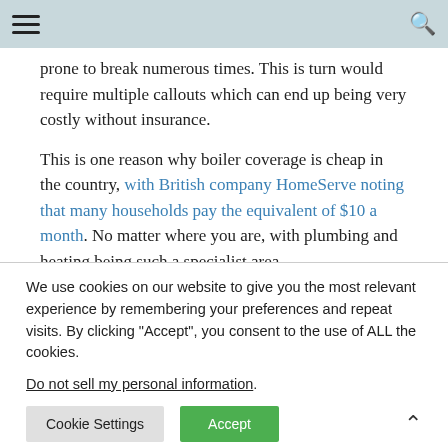installed a new model. The Guardian reports that boilers that are just six years old in the UK are still
prone to break numerous times. This is turn would require multiple callouts which can end up being very costly without insurance.

This is one reason why boiler coverage is cheap in the country, with British company HomeServe noting that many households pay the equivalent of $10 a month. No matter where you are, with plumbing and heating being such a specialist area,
We use cookies on our website to give you the most relevant experience by remembering your preferences and repeat visits. By clicking "Accept", you consent to the use of ALL the cookies.

Do not sell my personal information.